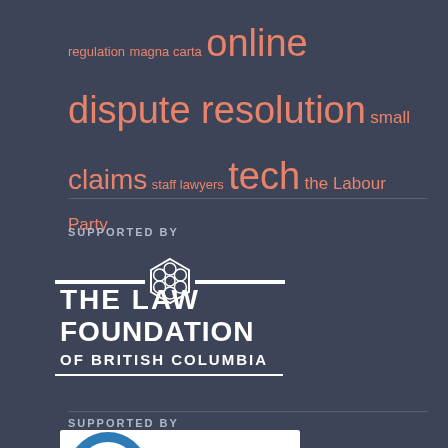regulation magna carta online dispute resolution small claims staff lawyers tech the Labour Party
SUPPORTED BY
[Figure (logo): The Law Foundation of British Columbia logo — white text and emblem on dark background]
SUPPORTED BY
[Figure (logo): CFCJ logo — blue and grey arc symbol with CFCJ text]